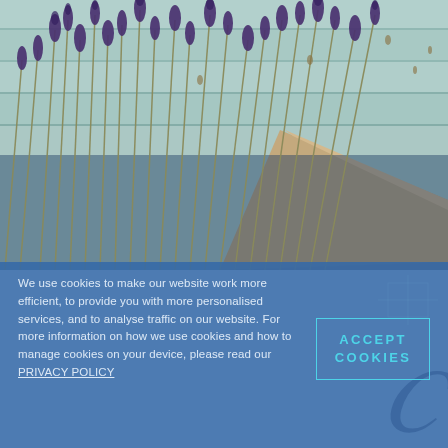[Figure (photo): Close-up photo of dried lavender bunches laid on a light teal/mint painted wooden surface with a wooden object in the bottom right corner. The lavender has deep purple flower heads on long stems.]
We use cookies to make our website work more efficient, to provide you with more personalised services, and to analyse traffic on our website. For more information on how we use cookies and how to manage cookies on your device, please read our PRIVACY POLICY
ACCEPT COOKIES